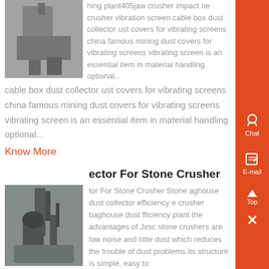[Figure (photo): Industrial crushing/grinding plant machinery photo, partially visible]
hing plant405jaw crusher impact ne crusher vibration screen cable box dust collector ust covers for vibrating screens china famous mining dust covers for vibrating screens vibrating screen is an essential item in material handling optional...
Know More
ector For Stone Crusher
[Figure (photo): Industrial dust collector / stone crusher facility with tall cylindrical equipment against sky]
tor For Stone Crusher Stone aghouse dust collector efficiency e crusher baghouse dust fficiency plant the advantages of Jxsc stone crushers are low noise and little dust which reduces the trouble of dust problems its structure is simple, easy to